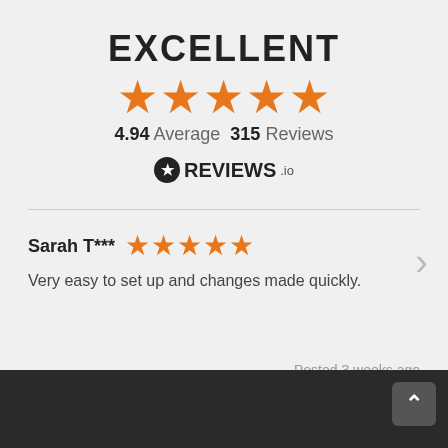EXCELLENT
[Figure (other): Five orange star rating icons (large)]
4.94 Average   315 Reviews
[Figure (logo): REVIEWS.io logo with black circle star icon]
Sarah T***   ★★★★★
Very easy to set up and changes made quickly.
Posted 3 weeks ago